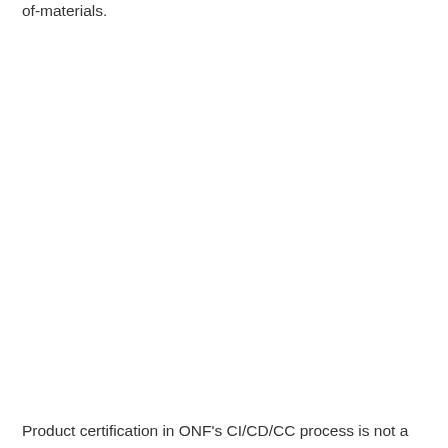of-materials.
Product certification in ONF's CI/CD/CC process is not a